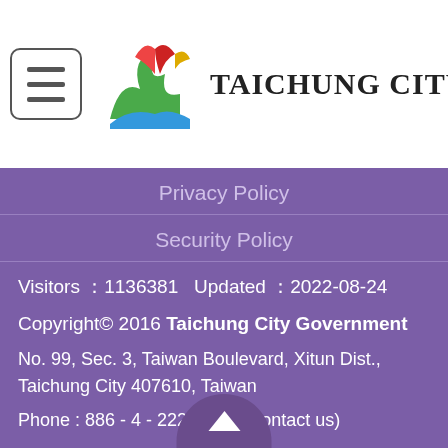[Figure (logo): Taichung City Government logo with colorful abstract bird/mountain shapes in red, green, blue, yellow]
TAICHUNG CITY GOVERNA
Privacy Policy
Security Policy
Visitors ：1136381   Updated ：2022-08-24
Copyright© 2016 Taichung City Government
No. 99, Sec. 3, Taiwan Boulevard, Xitun Dist., Taichung City 407610, Taiwan
Phone : 886 - 4 - 22289111 (Contact us)